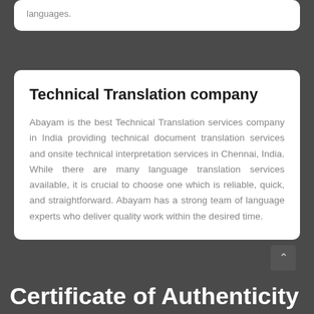languages.
Technical Translation company
Abayam is the best Technical Translation services company in India providing technical document translation services and onsite technical interpretation services in Chennai, India. While there are many language translation services available, it is crucial to choose one which is reliable, quick, and straightforward. Abayam has a strong team of language experts who deliver quality work within the desired time.
Certificate of Authenticity